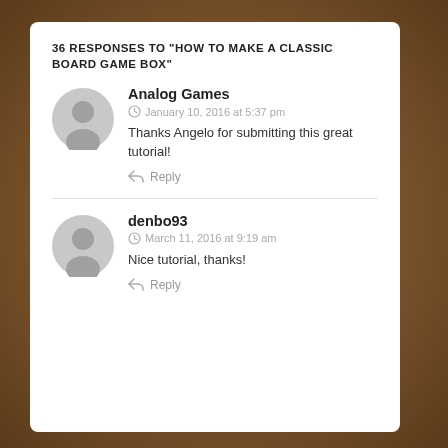36 RESPONSES TO “HOW TO MAKE A CLASSIC BOARD GAME BOX”
Analog Games
January 10, 2016 at 5:37 pm
Thanks Angelo for submitting this great tutorial!
Reply
denbo93
March 11, 2016 at 9:19 am
Nice tutorial, thanks!
Reply